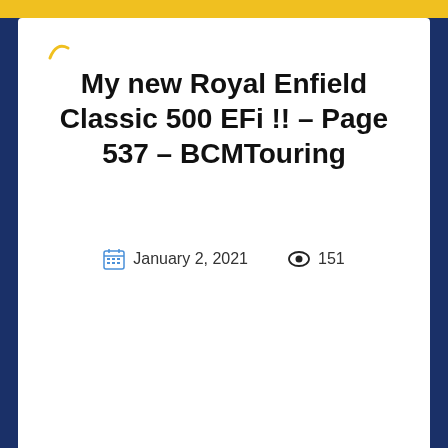My new Royal Enfield Classic 500 EFi !! – Page 537 – BCMTouring
January 2, 2021   151